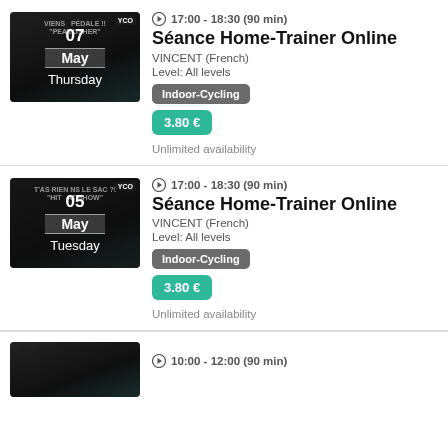[Figure (photo): Thumbnail image showing date 07 May Thursday with dark cycling background]
17:00 - 18:30 (90 min)
Séance Home-Trainer Online
VINCENT (French)
Level: All levels
Indoor-Cycling
3.80 €
Unlimited availability
[Figure (photo): Thumbnail image showing date 05 May Tuesday with dark cycling background]
17:00 - 18:30 (90 min)
Séance Home-Trainer Online
VINCENT (French)
Level: All levels
Indoor-Cycling
3.80 €
Unlimited availability
[Figure (photo): Partial thumbnail for third session]
10:00 - 12:00 (90 min)